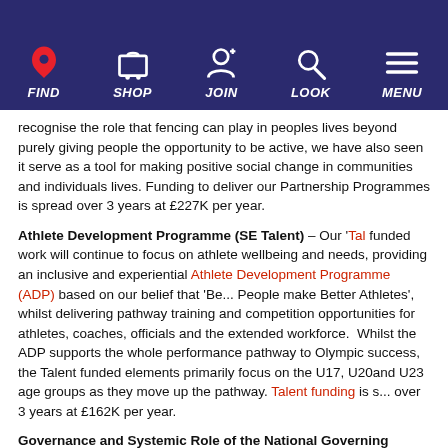FIND  SHOP  JOIN  LOOK  MENU
recognise the role that fencing can play in peoples lives beyond purely giving people the opportunity to be active, we have also seen it serve as a tool for making positive social change in communities and individuals lives. Funding to deliver our Partnership Programmes is spread over 3 years at £227K per year.
Athlete Development Programme (SE Talent) – Our 'Tal... funded work will continue to focus on athlete wellbeing and needs, providing an inclusive and experiential Athlete Development Programme (ADP) based on our belief that 'Be... People make Better Athletes', whilst delivering pathway training and competition opportunities for athletes, coaches, officials and the extended workforce.  Whilst the ADP supports the whole performance pathway to Olympic success, the Talent funded elements primarily focus on the U17, U20and U23 age groups as they move up the pathway. Talent funding is s... over 3 years at £162K per year.
Governance and Systemic Role of the National Governing